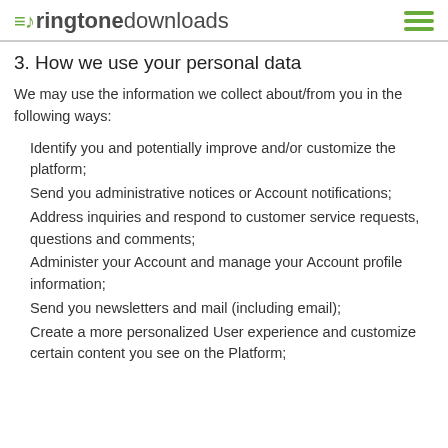ringtonedownloads
3. How we use your personal data
We may use the information we collect about/from you in the following ways:
Identify you and potentially improve and/or customize the platform;
Send you administrative notices or Account notifications;
Address inquiries and respond to customer service requests, questions and comments;
Administer your Account and manage your Account profile information;
Send you newsletters and mail (including email);
Create a more personalized User experience and customize certain content you see on the Platform;